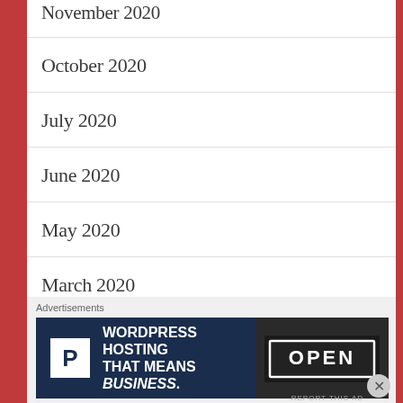November 2020
October 2020
July 2020
June 2020
May 2020
March 2020
February 2020
October 2019
September 2019
Advertisements
[Figure (other): Advertisement banner: WordPress Hosting That Means BUSINESS. with P logo and OPEN sign image]